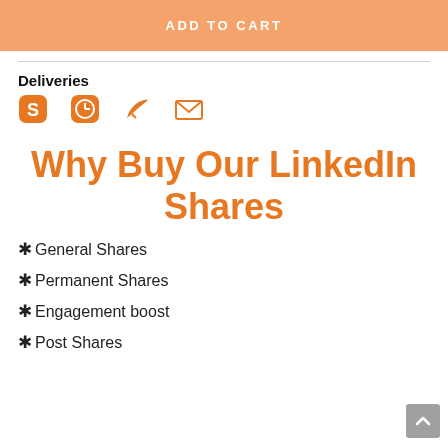ADD TO CART
Deliveries
[Figure (infographic): Four delivery/communication icons: Skype, WhatsApp/clock, a bird/feather icon, and an envelope/email icon, all in orange]
Why Buy Our LinkedIn Shares
* General Shares
* Permanent Shares
* Engagement boost
* Post Shares